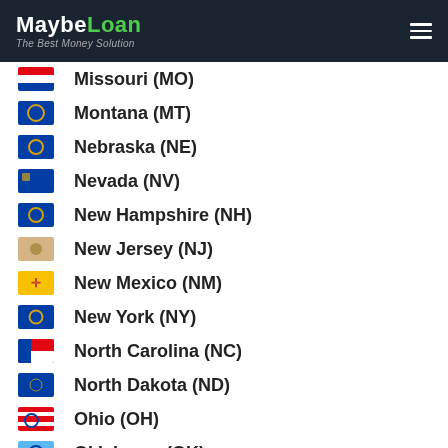MaybeLoan – The Best Money Solution
Missouri (MO)
Montana (MT)
Nebraska (NE)
Nevada (NV)
New Hampshire (NH)
New Jersey (NJ)
New Mexico (NM)
New York (NY)
North Carolina (NC)
North Dakota (ND)
Ohio (OH)
Oklahoma (OK)
Oregon (OR)
Pennsylvania (PA)